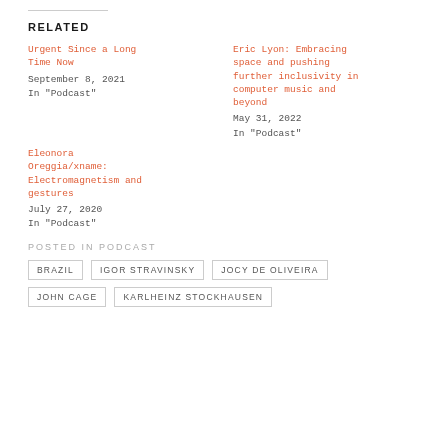RELATED
Urgent Since a Long Time Now
September 8, 2021
In "Podcast"
Eric Lyon: Embracing space and pushing further inclusivity in computer music and beyond
May 31, 2022
In "Podcast"
Eleonora Oreggia/xname: Electromagnetism and gestures
July 27, 2020
In "Podcast"
POSTED IN PODCAST
BRAZIL
IGOR STRAVINSKY
JOCY DE OLIVEIRA
JOHN CAGE
KARLHEINZ STOCKHAUSEN